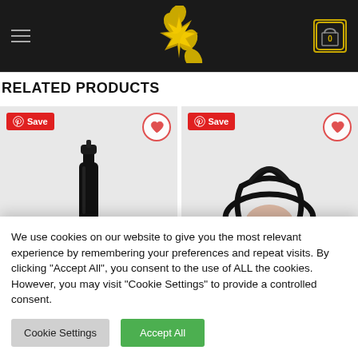[Figure (screenshot): E-commerce website header with dark background, hamburger menu icon on left, gold sparkle logo in center, shopping cart icon with '0' on right]
RELATED PRODUCTS
[Figure (screenshot): Two related product cards side by side. Left card shows a black bottle/spray product on gray background with red Save button and heart icon. Right card shows a black strappy product on gray background with red Save button and heart icon.]
We use cookies on our website to give you the most relevant experience by remembering your preferences and repeat visits. By clicking "Accept All", you consent to the use of ALL the cookies. However, you may visit "Cookie Settings" to provide a controlled consent.
Cookie Settings | Accept All